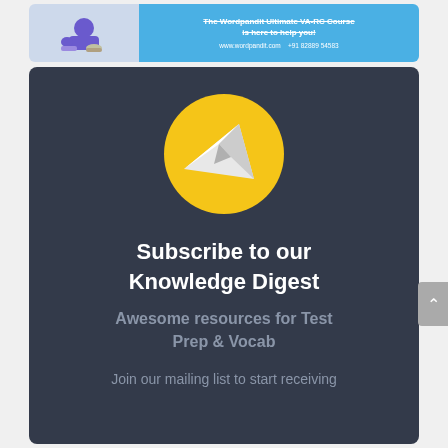[Figure (illustration): WordPandit banner ad with blue background, figure illustration on left, text on right saying 'The Wordpandit Ultimate VA-RC Course is here to help you!' with website and phone number]
[Figure (logo): Yellow circle with white paper airplane icon]
Subscribe to our Knowledge Digest
Awesome resources for Test Prep & Vocab
Join our mailing list to start receiving